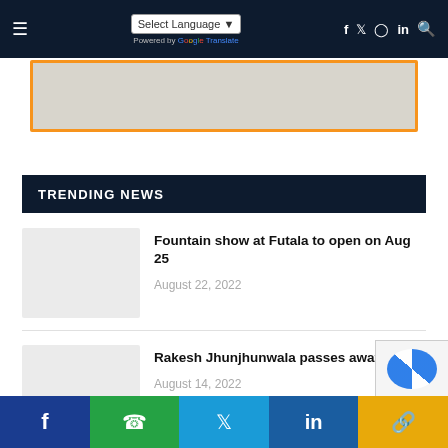≡  Select Language ▾  Powered by Google Translate  [social icons: f, twitter, instagram, in, search]
[Figure (photo): Banner image with orange border, partially visible, appears to be a news website logo/header graphic]
TRENDING NEWS
Fountain show at Futala to open on Aug 25
August 22, 2022
Rakesh Jhunjhunwala passes away
August 14, 2022
Share buttons: Facebook, WhatsApp, Twitter, LinkedIn, Link